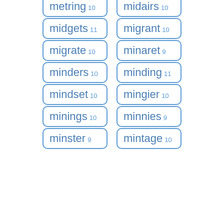metring 10
midairs 10
midgets 11
migrant 10
migrate 10
minaret 9
minders 10
minding 11
mindset 10
mingier 10
minings 10
minnies 9
minster 9
mintage 10